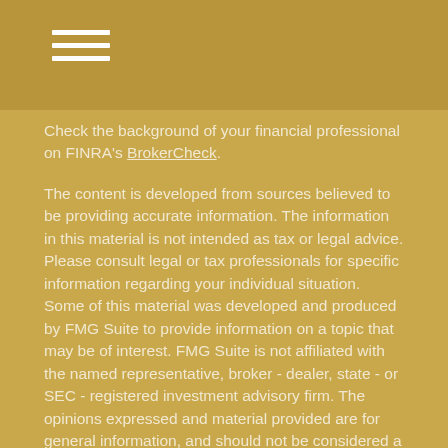[hamburger menu icon]
Check the background of your financial professional on FINRA's BrokerCheck.
The content is developed from sources believed to be providing accurate information. The information in this material is not intended as tax or legal advice. Please consult legal or tax professionals for specific information regarding your individual situation. Some of this material was developed and produced by FMG Suite to provide information on a topic that may be of interest. FMG Suite is not affiliated with the named representative, broker - dealer, state - or SEC - registered investment advisory firm. The opinions expressed and material provided are for general information, and should not be considered a solicitation for the purchase or sale of any security.
We take protecting your data and privacy very seriously. As of January 1, 2020 the California Consumer Privacy